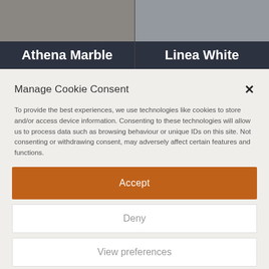Athena Marble
Linea White
Manage Cookie Consent
To provide the best experiences, we use technologies like cookies to store and/or access device information. Consenting to these technologies will allow us to process data such as browsing behaviour or unique IDs on this site. Not consenting or withdrawing consent, may adversely affect certain features and functions.
Accept
Deny
View preferences
Cookie Policy   Privacy Policy